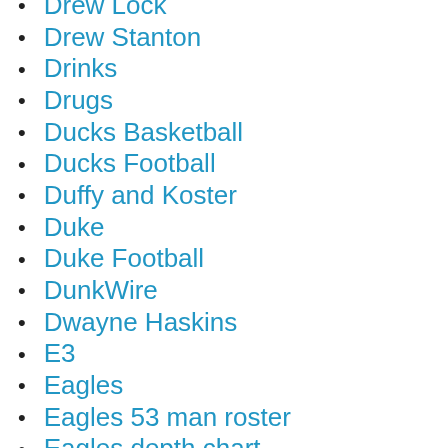Drew Lock
Drew Stanton
Drinks
Drugs
Ducks Basketball
Ducks Football
Duffy and Koster
Duke
Duke Football
DunkWire
Dwayne Haskins
E3
Eagles
Eagles 53 man roster
Eagles depth chart
Eagles Game Day
Eagles Mailb…